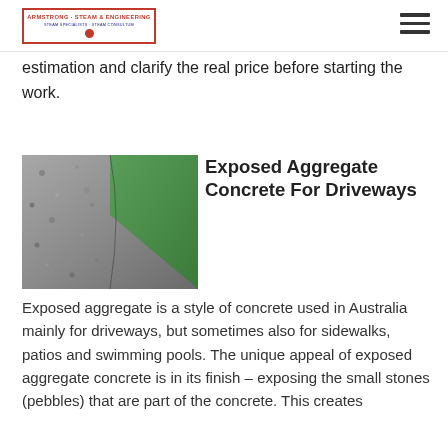Armstrong Steam & Engineering
estimation and clarify the real price before starting the work.
[Figure (photo): Exposed aggregate concrete driveway bordered by green grass]
Exposed Aggregate Concrete For Driveways
Exposed aggregate is a style of concrete used in Australia mainly for driveways, but sometimes also for sidewalks, patios and swimming pools. The unique appeal of exposed aggregate concrete is in its finish – exposing the small stones (pebbles) that are part of the concrete. This creates